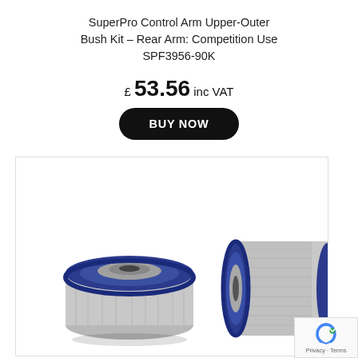SuperPro Control Arm Upper-Outer Bush Kit – Rear Arm: Competition Use SPF3956-90K
£ 53.56 inc VAT
BUY NOW
[Figure (photo): Two SuperPro polyurethane control arm bushes shown from different angles — one from the top showing the circular blue polyurethane and metal sleeve, one from the side showing the cylindrical shape with blue polyurethane ends.]
Privacy · Terms